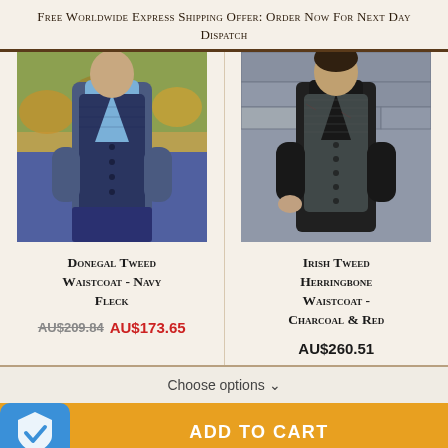Free Worldwide Express Shipping Offer: Order Now For Next Day Dispatch
[Figure (photo): Man wearing a navy fleck Donegal tweed waistcoat over a blue shirt, outdoors with autumn foliage background]
[Figure (photo): Man wearing a charcoal and red Irish tweed herringbone waistcoat over a black shirt and tie, stone wall background]
Donegal Tweed Waistcoat - Navy Fleck
AU$209.84  AU$173.65
Irish Tweed Herringbone Waistcoat - Charcoal & Red
AU$260.51
Choose options ∨
ADD TO CART